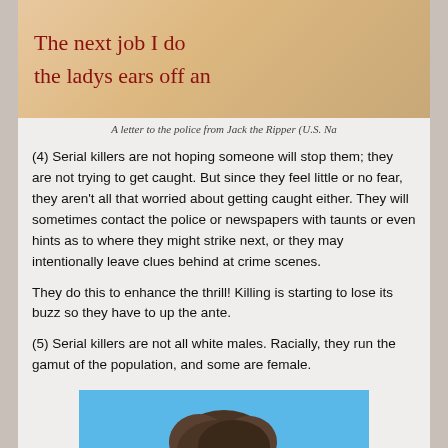[Figure (photo): Handwritten letter in red ink on light background, partially visible text reading 'The next job I do' and 'the ladys ears off an']
A letter to the police from Jack the Ripper (U.S. Na
(4) Serial killers are not hoping someone will stop them; they are not trying to get caught. But since they feel little or no fear, they aren't all that worried about getting caught either. They will sometimes contact the police or newspapers with taunts or even hints as to where they might strike next, or they may intentionally leave clues behind at crime scenes.
They do this to enhance the thrill! Killing is starting to lose its buzz so they have to up the ante.
(5) Serial killers are not all white males. Racially, they run the gamut of the population, and some are female.
[Figure (photo): Partial photo of a person's head/face against a blue background, cropped at bottom of page]